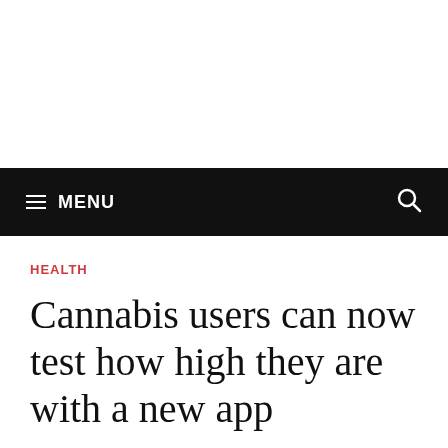≡ MENU
HEALTH
Cannabis users can now test how high they are with a new app